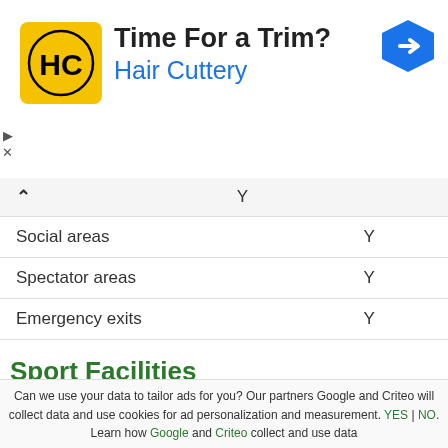[Figure (logo): Hair Cuttery advertisement banner with HC logo, 'Time For a Trim?' headline, 'Hair Cuttery' subline in blue, and a blue navigation arrow icon]
|  | Y |
| --- | --- |
| Social areas | Y |
| Spectator areas | Y |
| Emergency exits | Y |
Sport Facilities
1. Sports Halls - Small Hall
Pay and Play
Can we use your data to tailor ads for you? Our partners Google and Criteo will collect data and use cookies for ad personalization and measurement. YES | NO. Learn how Google and Criteo collect and use data